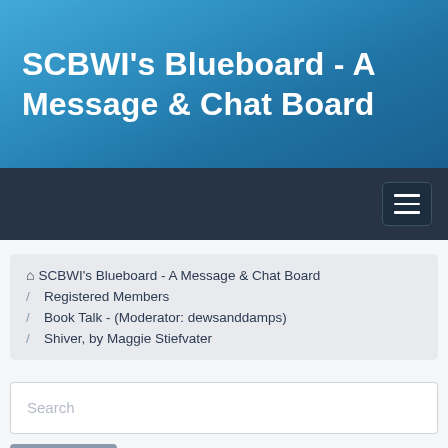SCBWI's Blueboard - A Message & Chat Board
[Figure (screenshot): Navigation bar with hamburger menu button]
⌂ SCBWI's Blueboard - A Message & Chat Board
/ Registered Members
/ Book Talk - (Moderator: dewsanddamps)
/ Shiver, by Maggie Stiefvater
Search
🔍 Search ⚙